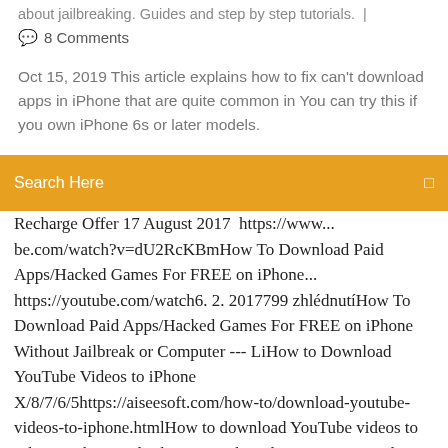about jailbreaking. Guides and step by step tutorials.  |
💬  8 Comments
Oct 15, 2019 This article explains how to fix can't download apps in iPhone that are quite common in You can try this if you own iPhone 6s or later models.
Search Here
Recharge Offer 17 August 2017  https://www...be.com/watch?v=dU2RcKBmHow To Download Paid Apps/Hacked Games For FREE on iPhone... https://youtube.com/watch6. 2. 2017799 zhlédnutíHow To Download Paid Apps/Hacked Games For FREE on iPhone Without Jailbreak or Computer --- LiHow to Download YouTube Videos to iPhone X/8/7/6/5https://aiseesoft.com/how-to/download-youtube-videos-to-iphone.htmlHow to download YouTube videos to iPhone? This article shows you the solutions to save videos from YouTube to iPhone X/8/7/6/5 with best YouTube downloader.